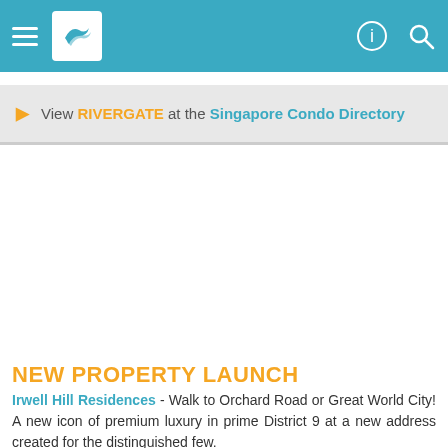Navigation bar with hamburger menu, logo, and icons
View RIVERGATE at the Singapore Condo Directory
NEW PROPERTY LAUNCH
Irwell Hill Residences - Walk to Orchard Road or Great World City! A new icon of premium luxury in prime District 9 at a new address created for the distinguished few.